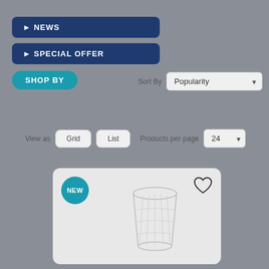▶ NEWS
▶ SPECIAL OFFER
SHOP BY
Sort By  Popularity
View as  Grid  List  Products per page  24
[Figure (photo): Product card showing a crystal glass tumbler with a 'NEW' badge and a heart/wishlist icon]